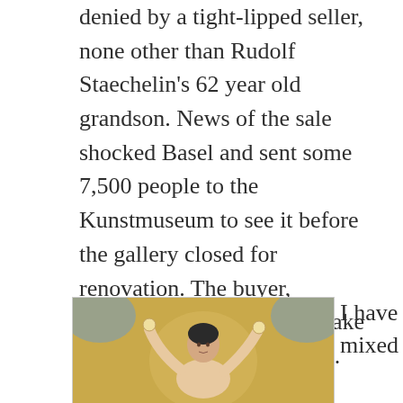denied by a tight-lipped seller, none other than Rudolf Staechelin's 62 year old grandson. News of the sale shocked Basel and sent some 7,500 people to the Kunstmuseum to see it before the gallery closed for renovation. The buyer, whoever he or she is, will take possession in January 2016. The present day Staechelin said, "In a way it's sad...but...private collections are like private persons. They don't last forever." So... we're even luckier to see this work before it may disappear from view.
[Figure (photo): A painting showing a woman holding objects in both raised hands against a golden/yellow background with blue accents.]
I have mixed